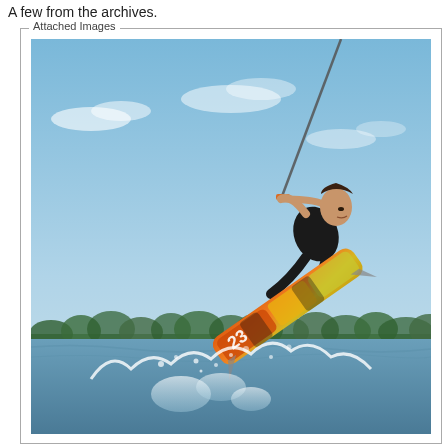A few from the archives.
[Figure (photo): A wakeboarder performing an aerial trick, holding a wakeboard with orange and yellow graphics, suspended in the air above splashing water with a rope/handle visible, against a bright blue sky with trees in the background.]